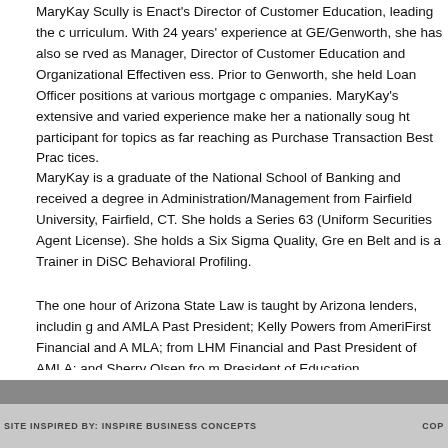MaryKay Scully is Enact's Director of Customer Education, leading the curriculum. With 24 years' experience at GE/Genworth, she has also served as Manager, Director of Customer Education and Organizational Effectiveness. Prior to Genworth, she held Loan Officer positions at various mortgage companies. MaryKay's extensive and varied experience make her a nationally sought participant for topics as far reaching as Purchase Transaction Best Practices.
MaryKay is a graduate of the National School of Banking and received a degree in Administration/Management from Fairfield University, Fairfield, CT. She holds a Series 63 (Uniform Securities Agent License). She holds a Six Sigma Quality, Green Belt and is a Trainer in DiSC Behavioral Profiling.
The one hour of Arizona State Law is taught by Arizona lenders, including and AMLA Past President; Kelly Powers from AmeriFirst Financial and AMLA; from LHM Financial and Past President of AMLA; and Sherry Olsen from President of Education.
SITE INSPIRED BY: INSPIRE BUSINESS CONCEPTS   COP